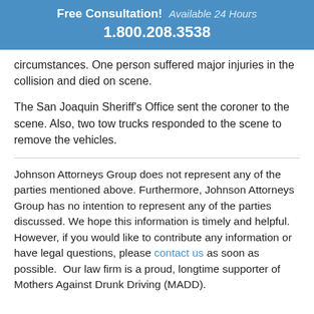Free Consultation! Available 24 Hours
1.800.208.3538
circumstances. One person suffered major injuries in the collision and died on scene.
The San Joaquin Sheriff’s Office sent the coroner to the scene. Also, two tow trucks responded to the scene to remove the vehicles.
Johnson Attorneys Group does not represent any of the parties mentioned above. Furthermore, Johnson Attorneys Group has no intention to represent any of the parties discussed. We hope this information is timely and helpful. However, if you would like to contribute any information or have legal questions, please contact us as soon as possible.  Our law firm is a proud, longtime supporter of Mothers Against Drunk Driving (MADD).